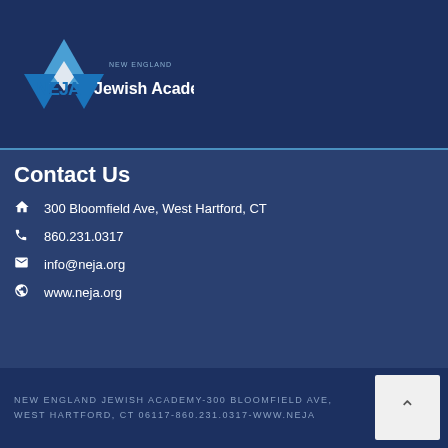[Figure (logo): New England Jewish Academy (NEJA) logo with Star of David and text]
Contact Us
300 Bloomfield Ave, West Hartford, CT
860.231.0317
info@neja.org
www.neja.org
[Figure (infographic): Social media icons: Facebook, YouTube, Instagram]
NEW ENGLAND JEWISH ACADEMY-300 BLOOMFIELD AVE, WEST HARTFORD, CT 06117-860.231.0317-WWW.NEJA...